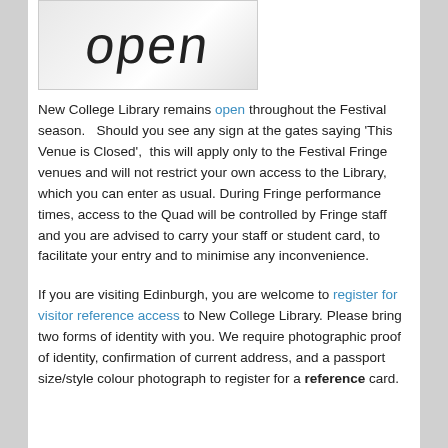[Figure (photo): An 'open' sign on a slightly angled white/silver card or sign, with the word 'open' in a light sans-serif font.]
New College Library remains open throughout the Festival season.   Should you see any sign at the gates saying 'This Venue is Closed',  this will apply only to the Festival Fringe venues and will not restrict your own access to the Library, which you can enter as usual. During Fringe performance times, access to the Quad will be controlled by Fringe staff and you are advised to carry your staff or student card, to facilitate your entry and to minimise any inconvenience.
If you are visiting Edinburgh, you are welcome to register for visitor reference access to New College Library. Please bring two forms of identity with you. We require photographic proof of identity, confirmation of current address, and a passport size/style colour photograph to register for a reference card.